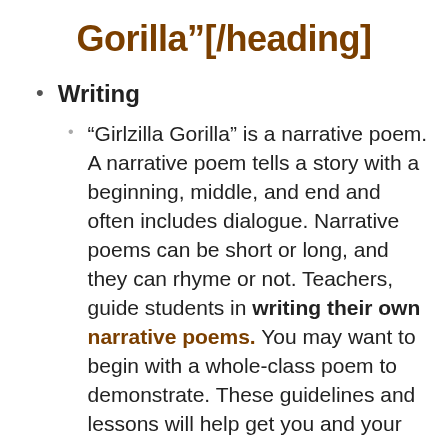Gorilla"[/heading]
Writing
“Girlzilla Gorilla” is a narrative poem. A narrative poem tells a story with a beginning, middle, and end and often includes dialogue. Narrative poems can be short or long, and they can rhyme or not. Teachers, guide students in writing their own narrative poems. You may want to begin with a whole-class poem to demonstrate. These guidelines and lessons will help get you and your